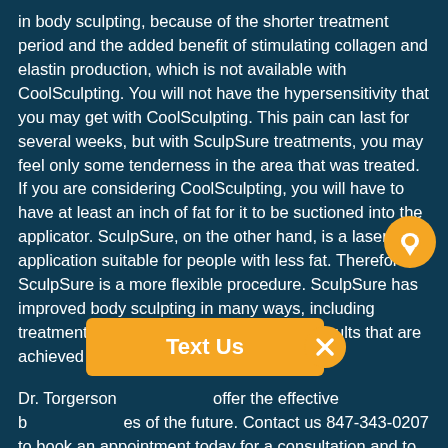in body sculpting, because of the shorter treatment period and the added benefit of stimulating collagen and elastin production, which is not available with CoolSculpting. You will not have the hypersensitivity that you may get with CoolSculpting. This pain can last for several weeks, but with SculpSure treatments, you may feel only some tenderness in the area that was treated. If you are considering CoolSculpting, you will have to have at least an inch of fat for it to be suctioned into the applicator. SculpSure, on the other hand, is a laser application suitable for people with less fat. Therefore, SculpSure is a more flexible procedure. SculpSure has improved body sculpting in many ways, including treatment time, side effects, and proven results that are achieved comfortably.
Dr. Torgerson [offers/is proud to] offer the effective b[ody sculpting technologi]es of the future. Contact us 847-343-0207 to book an appointment today for a consultation and to find out how SculpSure can give you the body you have